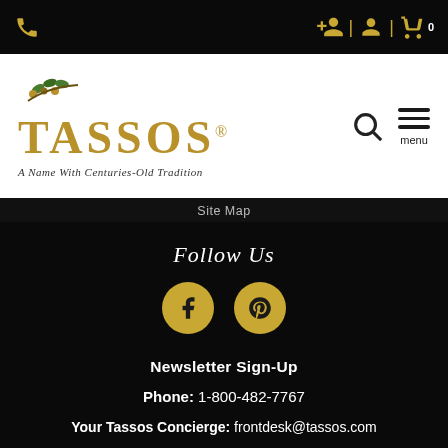[Figure (screenshot): Top black navigation bar with phone icon on left and user/cart icons on right]
[Figure (logo): Tassos brand logo with olive branch graphic, brand name in gold serif font, tagline 'A Name With Centuries-Old Tradition']
Site Map
Follow Us
[Figure (illustration): Facebook and Pinterest social media icons as gold circles with dark symbols]
Newsletter Sign-Up
Phone: 1-800-482-7767
Your Tassos Concierge: frontdesk@tassos.com
[Figure (illustration): Decorative gold olive branch border at bottom]